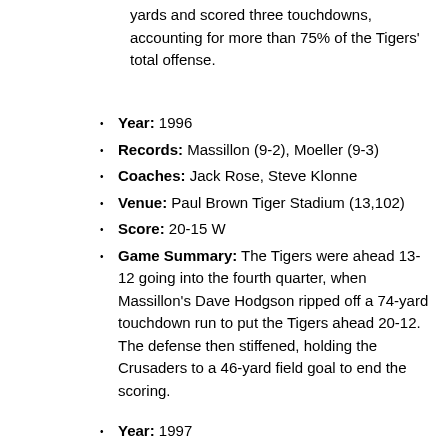yards and scored three touchdowns, accounting for more than 75% of the Tigers' total offense.
Year: 1996
Records: Massillon (9-2), Moeller (9-3)
Coaches: Jack Rose, Steve Klonne
Venue: Paul Brown Tiger Stadium (13,102)
Score: 20-15 W
Game Summary: The Tigers were ahead 13-12 going into the fourth quarter, when Massillon's Dave Hodgson ripped off a 74-yard touchdown run to put the Tigers ahead 20-12. The defense then stiffened, holding the Crusaders to a 46-yard field goal to end the scoring.
Year: 1997